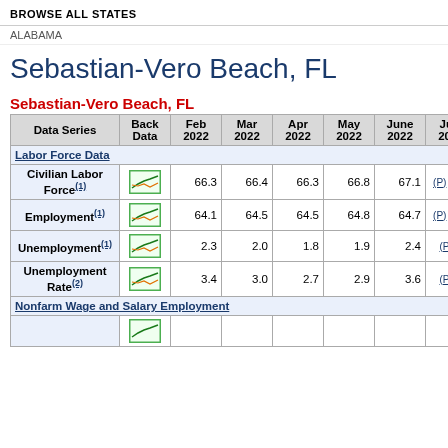BROWSE ALL STATES
ALABAMA
Sebastian-Vero Beach, FL
Sebastian-Vero Beach, FL
| Data Series | Back Data | Feb 2022 | Mar 2022 | Apr 2022 | May 2022 | June 2022 | July 2022 |
| --- | --- | --- | --- | --- | --- | --- | --- |
| Labor Force Data |  |  |  |  |  |  |  |
| Civilian Labor Force(1) | [chart] | 66.3 | 66.4 | 66.3 | 66.8 | 67.1 | (P) 67.4 |
| Employment(1) | [chart] | 64.1 | 64.5 | 64.5 | 64.8 | 64.7 | (P) 65.0 |
| Unemployment(1) | [chart] | 2.3 | 2.0 | 1.8 | 1.9 | 2.4 | (P) 2.3 |
| Unemployment Rate(2) | [chart] | 3.4 | 3.0 | 2.7 | 2.9 | 3.6 | (P) 3.5 |
| Nonfarm Wage and Salary Employment |  |  |  |  |  |  |  |
| ... | [chart] |  |  |  |  |  |  |